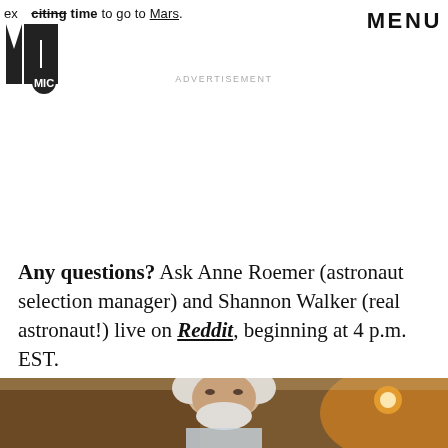exciting time to go to Mars.
[Figure (logo): MIC logo - bold block letters]
MENU
ADVERTISEMENT
Any questions? Ask Anne Roemer (astronaut selection manager) and Shannon Walker (real astronaut!) live on Reddit, beginning at 4 p.m. EST.
[Figure (photo): Elderly man with white hair and beard, appearing serious, photographed indoors with warm ambient light on the right side]